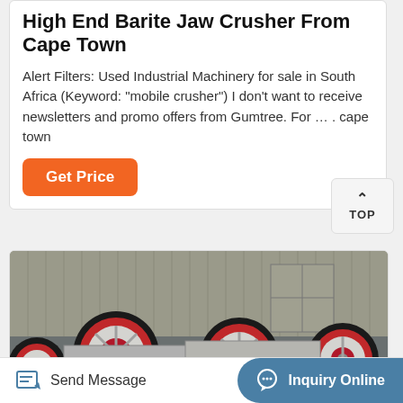High End Barite Jaw Crusher From Cape Town
Alert Filters: Used Industrial Machinery for sale in South Africa (Keyword: "mobile crusher") I don't want to receive newsletters and promo offers from Gumtree. For … . cape town
[Figure (other): Orange 'Get Price' button]
[Figure (other): TOP navigation button with upward chevron]
[Figure (photo): Industrial machinery photo showing multiple jaw crusher wheels/rollers in a factory setting]
Send Message   Inquiry Online